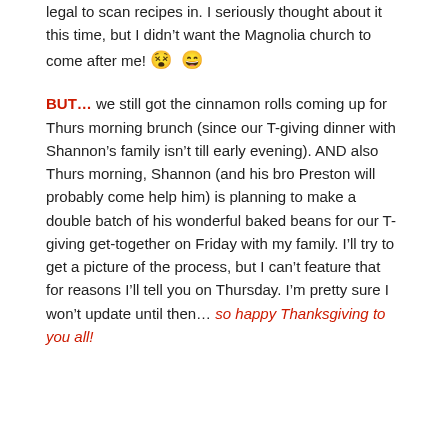legal to scan recipes in. I seriously thought about it this time, but I didn't want the Magnolia church to come after me! 😵 😄
BUT… we still got the cinnamon rolls coming up for Thurs morning brunch (since our T-giving dinner with Shannon's family isn't till early evening). AND also Thurs morning, Shannon (and his bro Preston will probably come help him) is planning to make a double batch of his wonderful baked beans for our T-giving get-together on Friday with my family. I'll try to get a picture of the process, but I can't feature that for reasons I'll tell you on Thursday. I'm pretty sure I won't update until then… so happy Thanksgiving to you all!